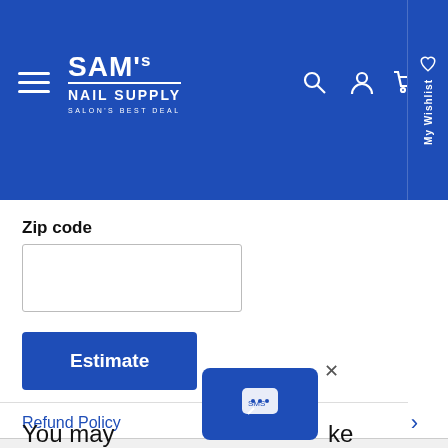[Figure (logo): SAM's NAIL SUPPLY logo with hamburger menu and header icons on blue background]
Zip code
Estimate
Refund Policy
You may also like
[Figure (other): SMS chat bubble popup widget with close X button]